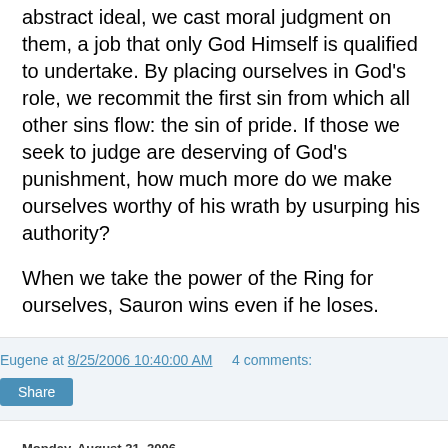abstract ideal, we cast moral judgment on them, a job that only God Himself is qualified to undertake. By placing ourselves in God's role, we recommit the first sin from which all other sins flow: the sin of pride. If those we seek to judge are deserving of God's punishment, how much more do we make ourselves worthy of his wrath by usurping his authority?
When we take the power of the Ring for ourselves, Sauron wins even if he loses.
Eugene at 8/25/2006 10:40:00 AM    4 comments:
Share
Monday, August 21, 2006
Wowzers
I know this has been making the rounds on the internet for a while now, and I know there's undoubtedly a perfectly good explanation for how they do this, but it's still pretty darn